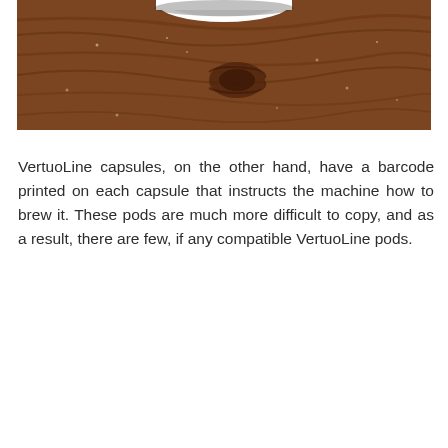[Figure (photo): A close-up photo of a wooden surface (dark wood grain texture) with what appears to be the bottom edge of a white cup or capsule visible at the top of the image.]
VertuoLine capsules, on the other hand, have a barcode printed on each capsule that instructs the machine how to brew it. These pods are much more difficult to copy, and as a result, there are few, if any compatible VertuoLine pods.